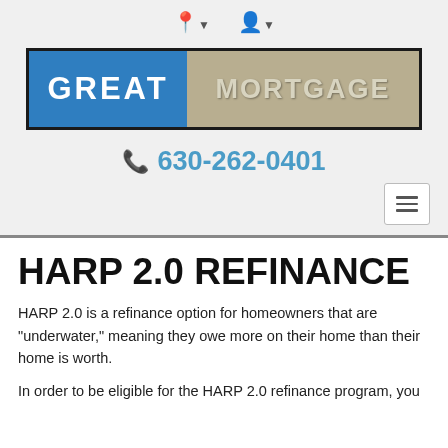[Figure (logo): Great Mortgage company logo with blue left panel reading GREAT and tan/khaki right panel reading MORTGAGE, inside a black border rectangle]
📞 630-262-0401
HARP 2.0 REFINANCE
HARP 2.0 is a refinance option for homeowners that are "underwater," meaning they owe more on their home than their home is worth.
In order to be eligible for the HARP 2.0 refinance program, you